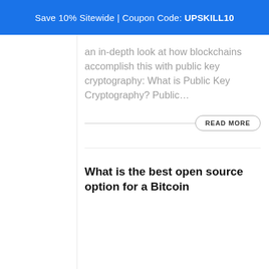Save 10% Sitewide | Coupon Code: UPSKILL10
an in-depth look at how blockchains accomplish this with public key cryptography: What is Public Key Cryptography? Public…
READ MORE
What is the best open source option for a Bitcoin